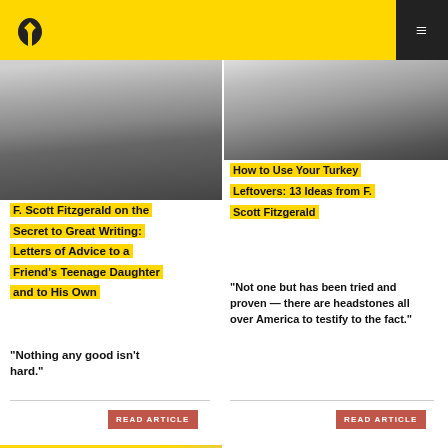Brain Pickings - navigation header with logo and menu
[Figure (photo): Black and white profile portrait photo of F. Scott Fitzgerald, left column]
F. Scott Fitzgerald on the Secret to Great Writing: Letters of Advice to a Friend's Teenage Daughter and to His Own
“Nothing any good isn’t hard.”
READ ARTICLE
[Figure (photo): Black and white portrait photo of F. Scott Fitzgerald, right column]
How to Use Your Turkey Leftovers: 13 Ideas from F. Scott Fitzgerald
“Not one but has been tried and proven — there are headstones all over America to testify to the fact.”
READ ARTICLE
[Figure (photo): Partial bottom-left photo, yellow tones, beginning of another article image]
[Figure (photo): Partial bottom-right black and white photo of a man with a hat]